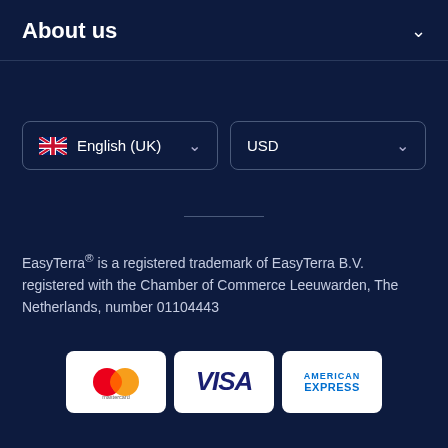About us
[Figure (screenshot): Language selector dropdown showing English (UK) with UK flag, and currency selector showing USD]
EasyTerra® is a registered trademark of EasyTerra B.V. registered with the Chamber of Commerce Leeuwarden, The Netherlands, number 01104443
[Figure (infographic): Payment method logos: Mastercard, VISA, American Express]